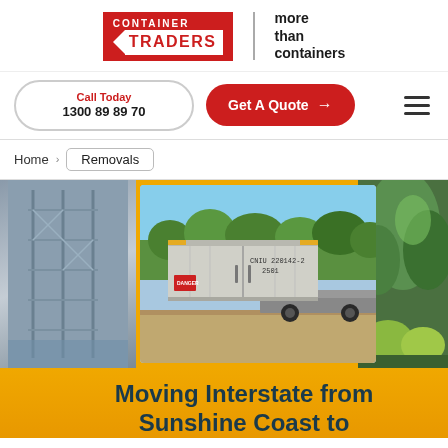[Figure (logo): Container Traders logo - red box with arrow and TRADERS text, tagline 'more than containers']
Call Today
1300 89 89 70
Get A Quote →
Home > Removals
[Figure (photo): Three photos in a carousel: left shows scaffolding/equipment, center shows a grey shipping container being delivered on a flatbed truck in a wooded area, right shows green trees/garden]
Moving Interstate from Sunshine Coast to